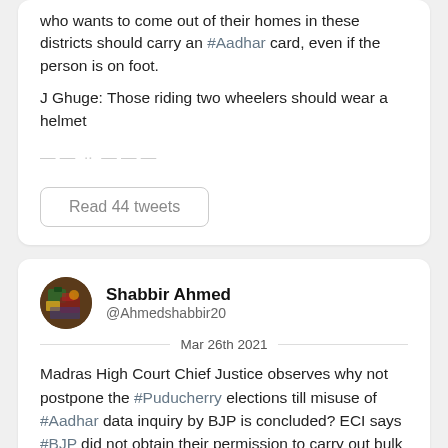who wants to come out of their homes in these districts should carry an #Aadhar card, even if the person is on foot.
J Ghuge: Those riding two wheelers should wear a helmet ...
Read 44 tweets
Shabbir Ahmed
@Ahmedshabbir20
Mar 26th 2021
Madras High Court Chief Justice observes why not postpone the #Puducherry elections till misuse of #Aadhar data inquiry by BJP is concluded? ECI says #BJP did not obtain their permission to carry out bulk SMS campaign. Court direct ECI to continue their investigation.